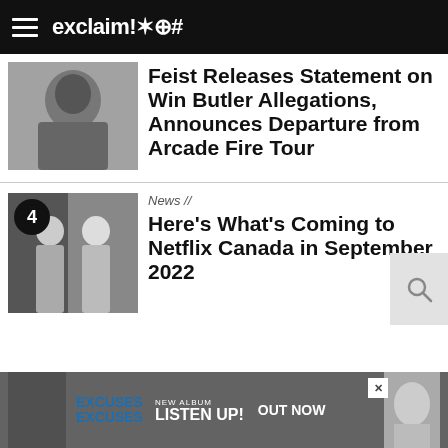exclaim!✶⊕#
[Figure (photo): Black and white photo of a person, cropped thumbnail for article about Feist and Win Butler allegations]
Feist Releases Statement on Win Butler Allegations, Announces Departure from Arcade Fire Tour
[Figure (photo): Black and white photo of two people, with a circular badge showing number 4, thumbnail for Netflix Canada article]
News //
Here's What's Coming to Netflix Canada in September 2022
[Figure (infographic): Advertisement banner: Excuses Excuses - New Album - Listen Up! - Out Now]
X